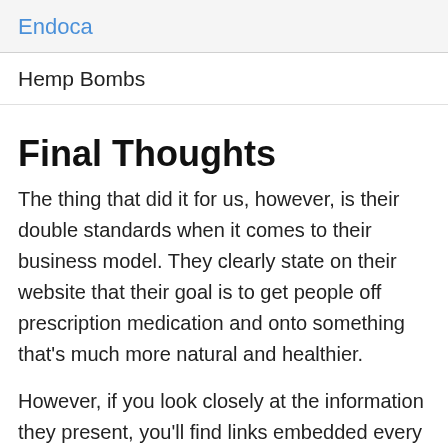Endoca
Hemp Bombs
Final Thoughts
The thing that did it for us, however, is their double standards when it comes to their business model. They clearly state on their website that their goal is to get people off prescription medication and onto something that's much more natural and healthier.
However, if you look closely at the information they present, you'll find links embedded every few sentences or so that click through to